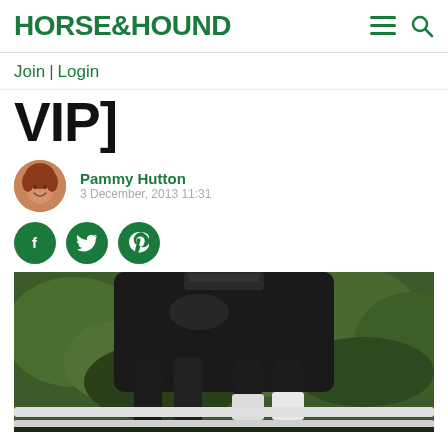HORSE&HOUND
Join | Login
VIP]
Pammy Hutton
3 December, 2013 11:31
[Figure (photo): Black horse legs and lower body walking, with white leg wraps on hind legs, green hedge background, white fence rail visible]
[Figure (illustration): Author avatar - woman with red/auburn hair smiling]